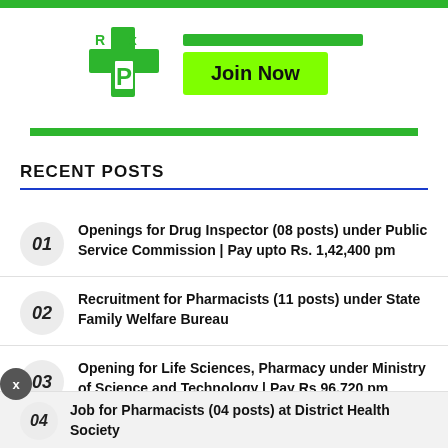[Figure (logo): Green pharmacy/health logo with cross and P symbol, with green bar accents and a bright green Join Now button]
RECENT POSTS
01 Openings for Drug Inspector (08 posts) under Public Service Commission | Pay upto Rs. 1,42,400 pm
02 Recruitment for Pharmacists (11 posts) under State Family Welfare Bureau
03 Opening for Life Sciences, Pharmacy under Ministry of Science and Technology | Pay Rs 96,720 pm
04 Job for Pharmacists (04 posts) at District Health Society